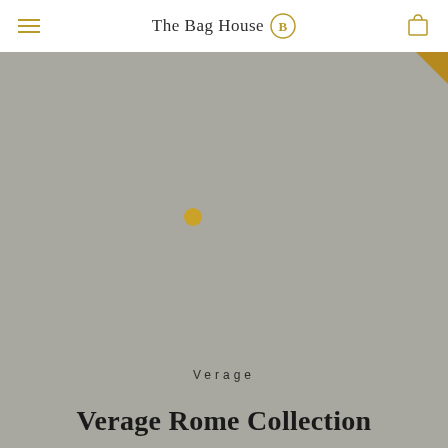The Bag House
[Figure (photo): Loading state of a product page showing a grey placeholder image area with a golden loading indicator dot in the center, and a golden corner arrow in the top right.]
Verage
Verage Rome Collection